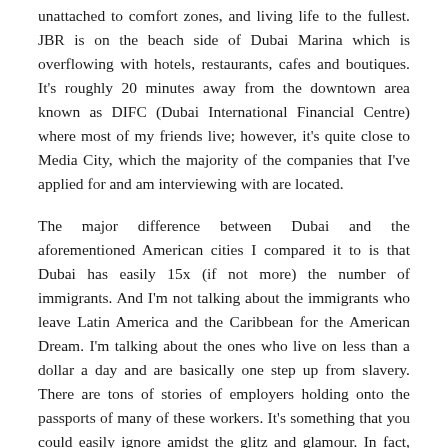unattached to comfort zones, and living life to the fullest. JBR is on the beach side of Dubai Marina which is overflowing with hotels, restaurants, cafes and boutiques. It's roughly 20 minutes away from the downtown area known as DIFC (Dubai International Financial Centre) where most of my friends live; however, it's quite close to Media City, which the majority of the companies that I've applied for and am interviewing with are located.
The major difference between Dubai and the aforementioned American cities I compared it to is that Dubai has easily 15x (if not more) the number of immigrants. And I'm not talking about the immigrants who leave Latin America and the Caribbean for the American Dream. I'm talking about the ones who live on less than a dollar a day and are basically one step up from slavery. There are tons of stories of employers holding onto the passports of many of these workers. It's something that you could easily ignore amidst the glitz and glamour. In fact, the severity of the situation only really hit me when I tipped a delivery man $5 USD and he almost cried as he thanked me. That's another thing, not many people tip here, but for me